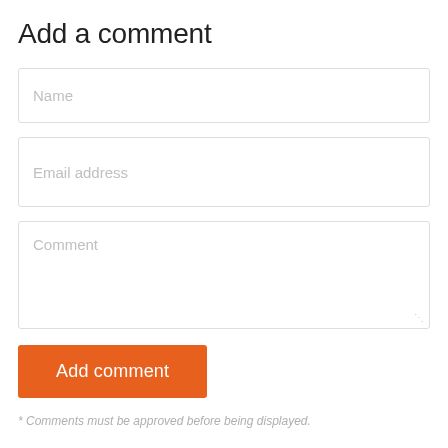Add a comment
Name
Email address
Comment
Add comment
* Comments must be approved before being displayed.